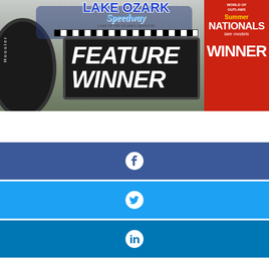[Figure (photo): Race car photo at Lake Ozark Speedway with a 'Feature Winner' sign and a 'Summer Nationals Late Models WINNER' banner sign on the right side. A Hoosier tire is visible on the left.]
[Figure (other): Facebook share button (dark blue background with white Facebook 'f' icon)]
[Figure (other): Twitter share button (light blue background with white Twitter bird icon)]
[Figure (other): LinkedIn share button (blue background with white LinkedIn 'in' icon)]
ELDON, MO – He's not a driver that